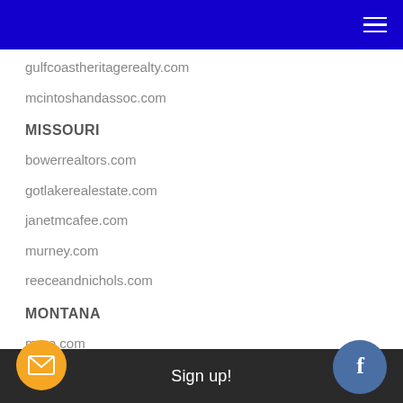gulfcoastheritagerealty.com
mcintoshandassoc.com
MISSOURI
bowerrealtors.com
gotlakerealestate.com
janetmcafee.com
murney.com
reeceandnichols.com
MONTANA
mere.com
Sign up!